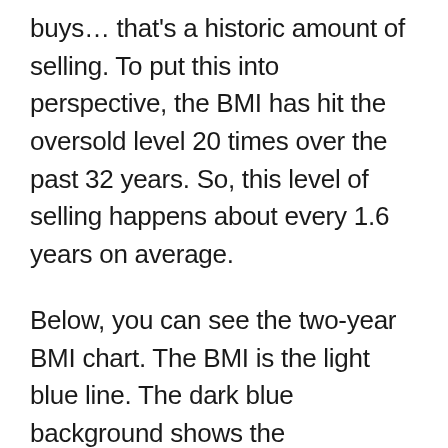buys… that's a historic amount of selling. To put this into perspective, the BMI has hit the oversold level 20 times over the past 32 years. So, this level of selling happens about every 1.6 years on average.
Below, you can see the two-year BMI chart. The BMI is the light blue line. The dark blue background shows the performance for the S&P 500, represented by the SPDR S&P 500 ETF Trust (SPY):